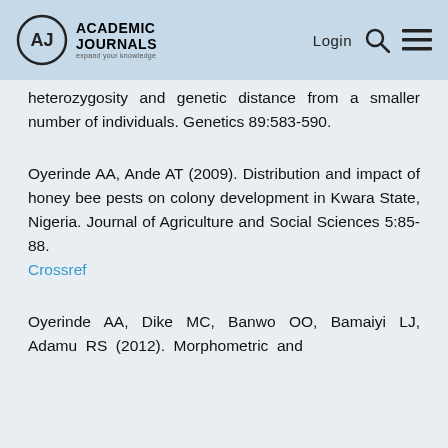Academic Journals | Login
heterozygosity and genetic distance from a smaller number of individuals. Genetics 89:583-590.
Oyerinde AA, Ande AT (2009). Distribution and impact of honey bee pests on colony development in Kwara State, Nigeria. Journal of Agriculture and Social Sciences 5:85-88. Crossref
Oyerinde AA, Dike MC, Banwo OO, Bamaiyi LJ, Adamu RS (2012). Morphometric and